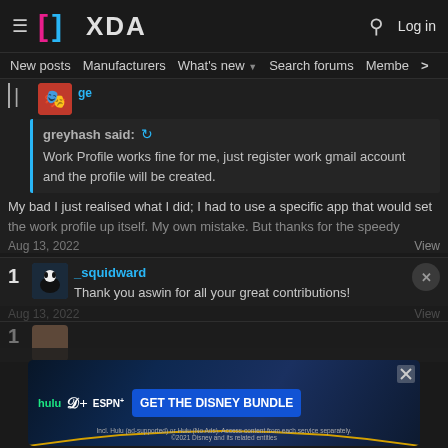XDA Developers
New posts  Manufacturers  What's new  Search forums  Members
greyhash said: Work Profile works fine for me, just register work gmail account and the profile will be created.
My bad I just realised what I did; I had to use a specific app that would set the work profile up itself. My own mistake. But thanks for the speedy
Aug 13, 2022  View
_squidward  Thank you aswin for all your great contributions!
[Figure (screenshot): XDA Developers website screenshot showing forum posts with a quote block and Disney Bundle advertisement banner at bottom]